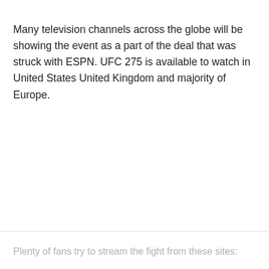Many television channels across the globe will be showing the event as a part of the deal that was struck with ESPN. UFC 275 is available to watch in United States United Kingdom and majority of Europe.
Plenty of fans try to stream the fight from these sites: